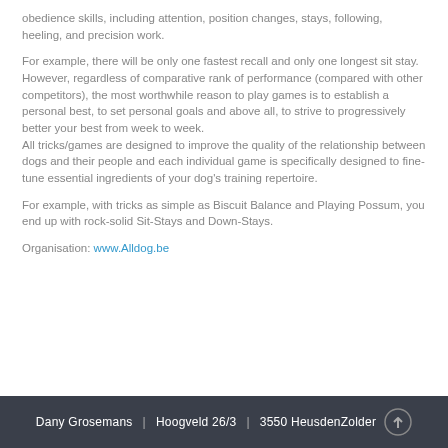obedience skills, including attention, position changes, stays, following, heeling, and precision work.
For example, there will be only one fastest recall and only one longest sit stay. However, regardless of comparative rank of performance (compared with other competitors), the most worthwhile reason to play games is to establish a personal best, to set personal goals and above all, to strive to progressively better your best from week to week.
All tricks/games are designed to improve the quality of the relationship between dogs and their people and each individual game is specifically designed to fine-tune essential ingredients of your dog's training repertoire.
For example, with tricks as simple as Biscuit Balance and Playing Possum, you end up with rock-solid Sit-Stays and Down-Stays.
Organisation: www.Alldog.be
Dany Grosemans | Hoogveld 26/3 | 3550 HeusdenZolder